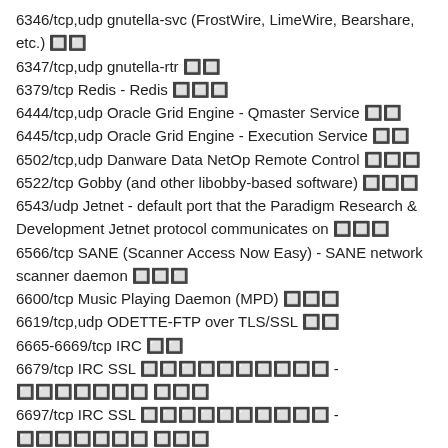6346/tcp,udp gnutella-svc (FrostWire, LimeWire, Bearshare, etc.) 🔲🔲
6347/tcp,udp gnutella-rtr 🔲🔲
6379/tcp Redis - Redis 🔲🔲🔲
6444/tcp,udp Oracle Grid Engine - Qmaster Service 🔲🔲
6445/tcp,udp Oracle Grid Engine - Execution Service 🔲🔲
6502/tcp,udp Danware Data NetOp Remote Control 🔲🔲🔲
6522/tcp Gobby (and other libobby-based software) 🔲🔲🔲
6543/udp Jetnet - default port that the Paradigm Research & Development Jetnet protocol communicates on 🔲🔲🔲
6566/tcp SANE (Scanner Access Now Easy) - SANE network scanner daemon 🔲🔲🔲
6600/tcp Music Playing Daemon (MPD) 🔲🔲🔲
6619/tcp,udp ODETTE-FTP over TLS/SSL 🔲🔲
6665-6669/tcp IRC 🔲🔲
6679/tcp IRC SSL 🔲🔲🔲🔲🔲🔲🔲🔲🔲🔲 - 🔲🔲🔲🔲🔲🔲🔲 🔲🔲🔲
6697/tcp IRC SSL 🔲🔲🔲🔲🔲🔲🔲🔲🔲🔲 - 🔲🔲🔲🔲🔲🔲🔲 🔲🔲🔲
6699/tcp WinMX 🔲🔲🔲6257🔲🔲🔲 🔲🔲🔲
6881-6999/tcp,udp BitTorrent 🔲🔲🔲🔲🔲🔲🔲 🔲🔲🔲